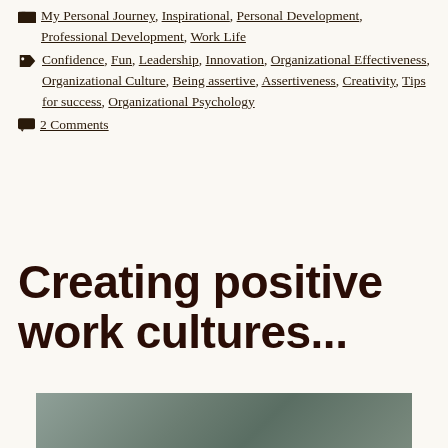My Personal Journey, Inspirational, Personal Development, Professional Development, Work Life
Confidence, Fun, Leadership, Innovation, Organizational Effectiveness, Organizational Culture, Being assertive, Assertiveness, Creativity, Tips for success, Organizational Psychology
2 Comments
Creating positive work cultures...
[Figure (photo): Partial photo of a person, likely outdoors or near water with plant/grass elements visible]